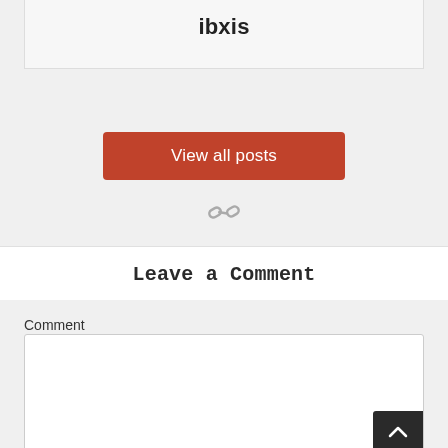ibxis
[Figure (other): View all posts button (red/orange rounded rectangle) followed by a chain-link icon below it]
Leave a Comment
Comment
[Figure (other): Empty comment text input box]